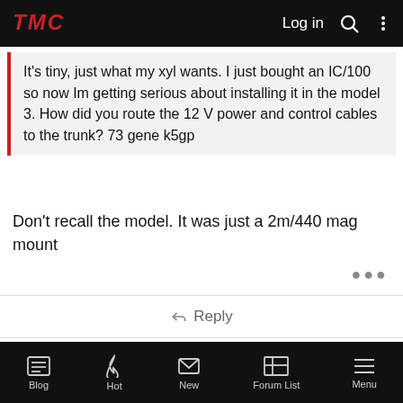TMC  Log in
It's tiny, just what my xyl wants. I just bought an IC/100 so now Im getting serious about installing it in the model 3. How did you route the 12 V power and control cables to the trunk? 73 gene k5gp
Don't recall the model. It was just a 2m/440 mag mount
Reply
JJOhio
Member
#68
Dec 17, 2019
DrGene said:
Blog  Hot  New  Forum List  Menu